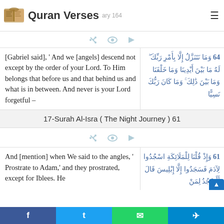Quran Verses  — ary 164
[Gabriel said], ' And we [angels] descend not except by the order of your Lord. To Him belongs that before us and that behind us and what is in between. And never is your Lord forgetful –
64 وَمَا نَتَنَزَّلُ إِلَّا بِأَمْرِ رَبِّكَ ۖ لَهُ مَا بَيْنَ أَيْدِينَا وَمَا خَلْفَنَا وَمَا بَيْنَ ذَٰلِكَ ۚ وَمَا كَانَ رَبُّكَ نَسِيًّا
17-Surah Al-Isra ( The Night Journey ) 61
And [mention] when We said to the angles, ' Prostrate to Adam,' and they prostrated, except for Iblees. He
61 وَإِذْ قُلْنَا لِلْمَلَائِكَةِ اسْجُدُوا لِآدَمَ فَسَجَدُوا إِلَّا إِبْلِيسَ قَالَ أَأَسْجُدُ لِمَنْ
f  t  WhatsApp  Telegram